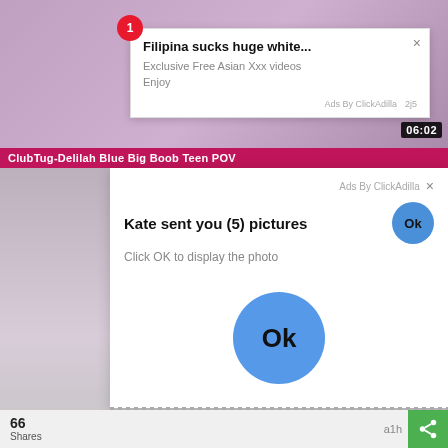[Figure (screenshot): Video thumbnail with purple/pink background showing adult content]
Filipina sucks huge white...
Exclusive Free Asian Xxx videos
Enjoy
Ads By ClickAdilla   2j5
06:02
ClubTug-Delilah Blue Big Boob Teen POV
[Figure (screenshot): Video thumbnail with purple/grey background showing adult content]
Ads By ClickAdilla ×
Kate sent you (5) pictures
Click OK to display the photo
Ok
Ok
66
Shares
a1h